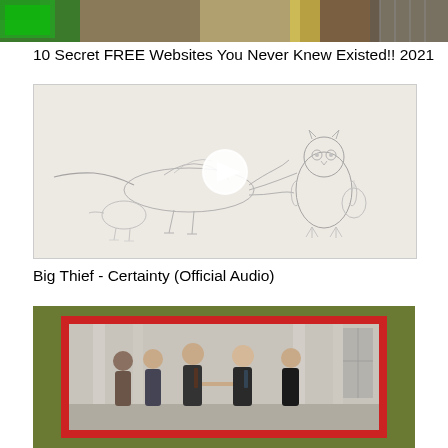[Figure (screenshot): Partial top image strip showing colorful objects including a green item, cropped at top of page]
10 Secret FREE Websites You Never Knew Existed!! 2021
[Figure (screenshot): Pencil sketch drawing of bird-like and bear-like animal figures on a light beige background, with a circular white play button overlay in the center]
Big Thief - Certainty (Official Audio)
[Figure (photo): Photo of several people in formal attire shaking hands at what appears to be the White House, shown inside a red-bordered frame on an olive green background, partially cropped at bottom]